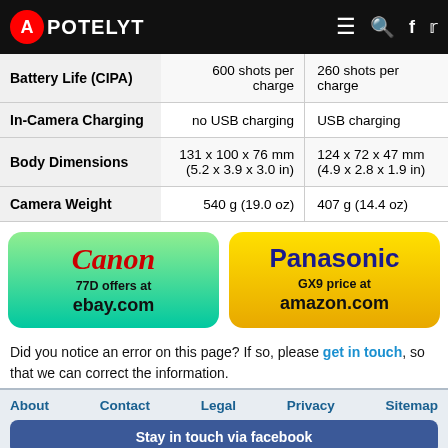APOTELYT
|  | Canon 77D | Panasonic GX9 |
| --- | --- | --- |
| Battery Life (CIPA) | 600 shots per charge | 260 shots per charge |
| In-Camera Charging | no USB charging | USB charging |
| Body Dimensions | 131 x 100 x 76 mm (5.2 x 3.9 x 3.0 in) | 124 x 72 x 47 mm (4.9 x 2.8 x 1.9 in) |
| Camera Weight | 540 g (19.0 oz) | 407 g (14.4 oz) |
[Figure (infographic): Canon 77D offers at ebay.com button]
[Figure (infographic): Panasonic GX9 price at amazon.com button]
Did you notice an error on this page? If so, please get in touch, so that we can correct the information.
About  Contact  Legal  Privacy  Sitemap  Stay in touch via facebook